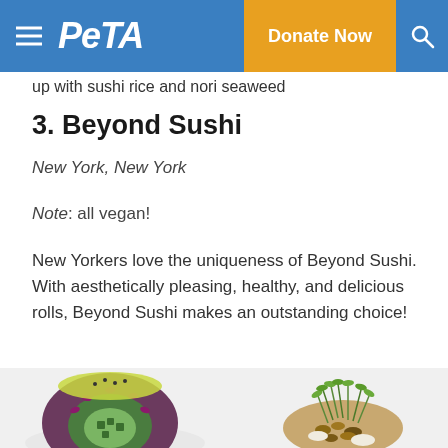PETA | Donate Now
up with sushi rice and nori seaweed
3. Beyond Sushi
New York, New York
Note: all vegan!
New Yorkers love the uniqueness of Beyond Sushi. With aesthetically pleasing, healthy, and delicious rolls, Beyond Sushi makes an outstanding choice!
[Figure (photo): Two vegan sushi rolls from Beyond Sushi restaurant. Left: a purple/red seaweed-wrapped roll with green cucumber filling cut in cross-section, topped with a yellow-green slice. Right: a dish topped with micro-greens sprouts and mixed seeds/nuts.]